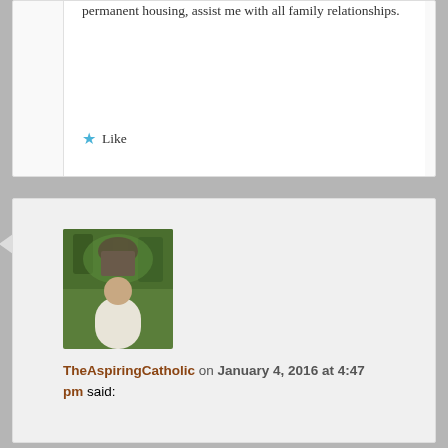permanent housing, assist me with all family relationships.
★ Like
[Figure (photo): Avatar/profile photo of TheAspiringCatholic showing a person in white clothing outdoors near trees or a park statue]
TheAspiringCatholic on January 4, 2016 at 4:47 pm said:
Amen
★ Liked by 1 person
Reply ↓